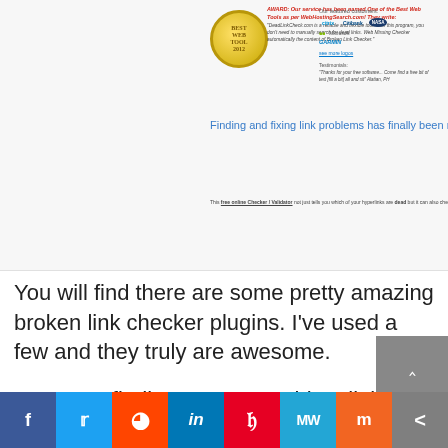[Figure (screenshot): Screenshot of a web tool page for broken link checking, showing an award badge, company logos (Citrix, Citi, NASA, Microsoft, Garmin), a headline about finding and fixing link problems, and a testimonials section.]
You will find there are some pretty amazing broken link checker plugins. I've used a few and they truly are awesome.
However, finding EVERY problem link on your website may need this free online broken link checker too.
Recently, I discovered a broken link that
[Figure (infographic): Social sharing bar with icons for Facebook, Twitter, Reddit, LinkedIn, Pinterest, MW, Mix, and Share]